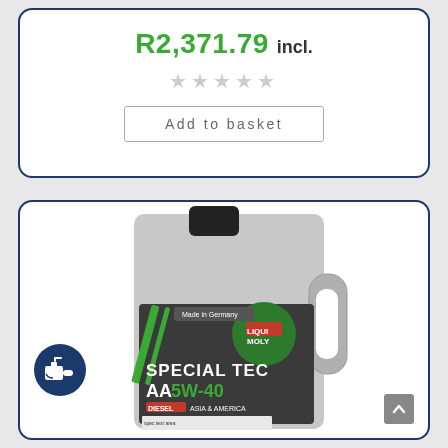R2,371.79 incl.
[Figure (illustration): Five grey star rating icons (empty/grey stars indicating no rating)]
Add to basket
[Figure (photo): Liqui Moly Special Tec AA 5W-40 Diesel Asia & America motor oil bottle (5L), grey plastic container with green and black label, Made in Germany]
[Figure (illustration): Blue circular motor oil icon badge in bottom left corner of product card]
[Figure (illustration): Grey scroll-to-top button in bottom right corner]